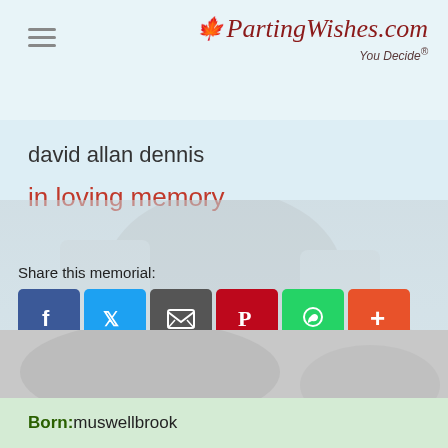[Figure (logo): PartingWishes.com logo with maple leaf and 'You Decide' tagline]
david allan dennis
in loving memory
[Figure (photo): Faded background photo of decorative items]
Share this memorial:
[Figure (infographic): Social sharing buttons: Facebook, Twitter, Email, Pinterest, WhatsApp, More]
Born: muswellbrook